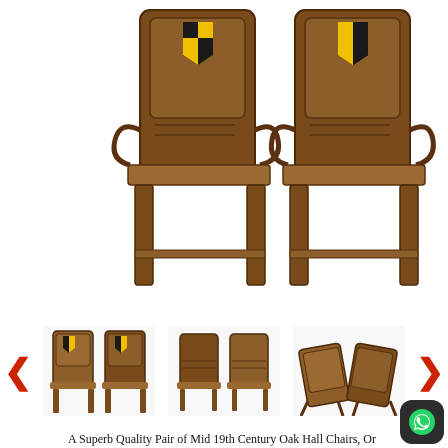[Figure (photo): Main product photo showing a pair of Mid 19th Century Oak Hall Chairs / Library Chairs in the Gothic taste, viewed from front-slightly above angle, showing carved backs with heraldic shield decoration in black and yellow, and panelled seats.]
[Figure (photo): Three thumbnail images of the same pair of chairs: front view, rear/side view, and underside/bottom view, with left and right navigation arrows.]
A Superb Quality Pair of Mid 19th Century Oak Hall Chairs, Or Library Chairs, In The Gothic Taste And Of Bold Proportions. They Have Very Attractive Carved Decoration To Backs And Panelled Seats With Elegant Scrolling Arms Raised On Square Legs With Moulded Panel Decoration.